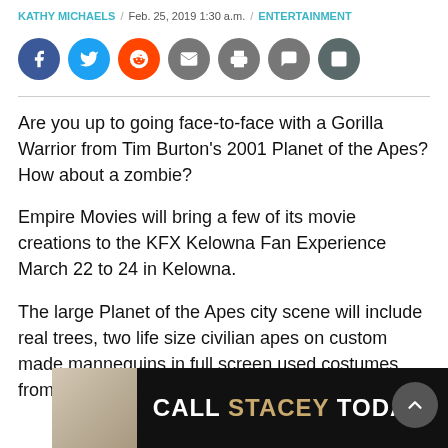KATHY MICHAELS / Feb. 25, 2019 1:30 a.m. / ENTERTAINMENT
[Figure (infographic): Social share icons: Facebook (blue), Twitter (light blue), Reddit (orange), Email (grey), Print (grey), Comment (grey), Gallery (dark grey)]
Are you up to going face-to-face with a Gorilla Warrior from Tim Burton's 2001 Planet of the Apes? How about a zombie?
Empire Movies will bring a few of its movie creations to the KFX Kelowna Fan Experience March 22 to 24 in Kelowna.
The large Planet of the Apes city scene will include real trees, two life size civilian apes on custom made mannequins in full screen used costumes from the “Ape
[Figure (advertisement): Advertisement banner reading CALL STACEY TODAY! with woman photo on left, dark background]